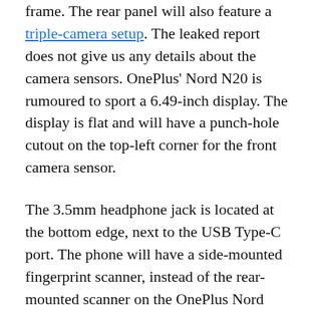frame. The rear panel will also feature a triple-camera setup. The leaked report does not give us any details about the camera sensors. OnePlus' Nord N20 is rumoured to sport a 6.49-inch display. The display is flat and will have a punch-hole cutout on the top-left corner for the front camera sensor.
The 3.5mm headphone jack is located at the bottom edge, next to the USB Type-C port. The phone will have a side-mounted fingerprint scanner, instead of the rear-mounted scanner on the OnePlus Nord N10. It will be 8.4mm thick, according to the leaked information.
OnePlus recently launched the OnePlus 9 series. The flagship lineup comprises the OnePlus 9 Pro, OnePlus 9, and the OnePlus 9R. Regarding the Nord N20, the company has not announced the official launch timeline